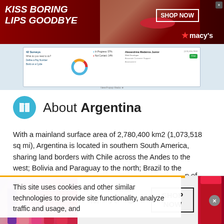[Figure (screenshot): Top Macy's advertisement banner: dark red background with 'KISS BORING LIPS GOODBYE' in white italic text, woman's face with red lips in center, 'SHOP NOW' button and Macy's star logo on right]
[Figure (screenshot): Website screenshot strip showing a customer service or analytics dashboard interface]
About Argentina
With a mainland surface area of 2,780,400 km2 (1,073,518 sq mi), Argentina is located in southern South America, sharing land borders with Chile across the Andes to the west; Bolivia and Paraguay to the north; Brazil to the northeast, Uruguay and the South Atlantic Ocean to the east; and the Drake
This site uses cookies and other similar technologies to provide site functionality, analyze traffic and usage, and
[Figure (screenshot): Bottom MAC cosmetics advertisement showing lipsticks, MAC logo, and SHOP NOW button]